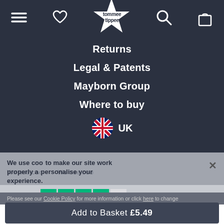[Figure (logo): Tommee Tippee logo with star shape, navigation bar with hamburger menu, heart icon, search icon, and bag icon]
Returns
Legal & Patents
Mayborn Group
Where to buy
🇬🇧 UK
We use cookies to make our site work properly and to personalise your experience.
[Figure (infographic): Trustpilot rating: 4 green stars and 1 grey star with Trustpilot logo]
Please see our Cookie Policy for more information or click here to change your cookie settings.
Add to Basket £5.49